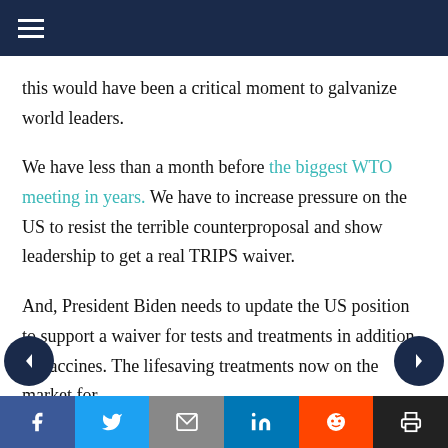Navigation menu header with hamburger icon
this would have been a critical moment to galvanize world leaders.
We have less than a month before the biggest WTO meeting in years. We have to increase pressure on the US to resist the terrible counterproposal and show leadership to get a real TRIPS waiver.
And, President Biden needs to update the US position to support a waiver for tests and treatments in addition to vaccines. The lifesaving treatments now on the market for
Social share bar: Facebook, Twitter, Email, LinkedIn, Reddit, Print